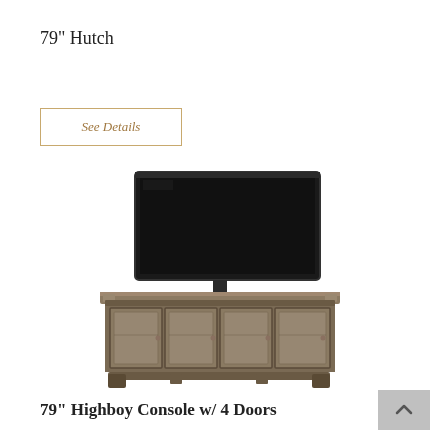79” Hutch
See Details
[Figure (photo): A rustic wooden TV console (highboy) with four glass-paneled doors and a large flat-screen TV mounted on top. The console is in a weathered gray-brown wood finish.]
79” Highboy Console w/ 4 Doors